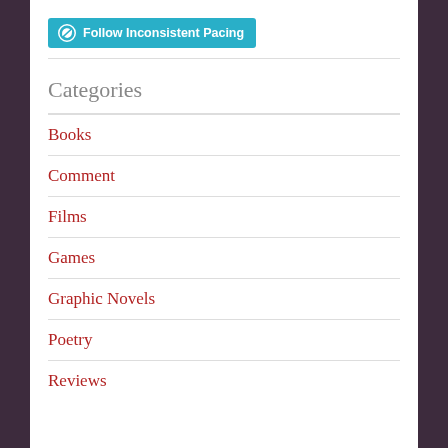[Figure (logo): WordPress Follow button with W logo and text 'Follow Inconsistent Pacing' on teal/cyan background]
Categories
Books
Comment
Films
Games
Graphic Novels
Poetry
Reviews